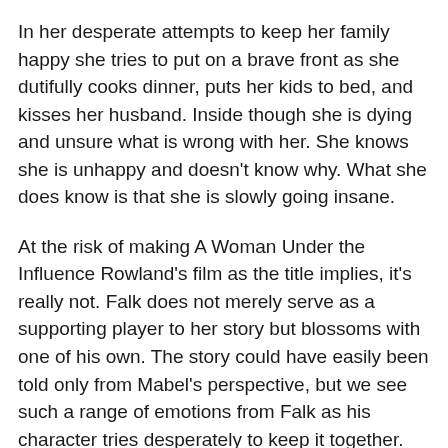In her desperate attempts to keep her family happy she tries to put on a brave front as she dutifully cooks dinner, puts her kids to bed, and kisses her husband. Inside though she is dying and unsure what is wrong with her. She knows she is unhappy and doesn't know why. What she does know is that she is slowly going insane.
At the risk of making A Woman Under the Influence Rowland's film as the title implies, it's really not. Falk does not merely serve as a supporting player to her story but blossoms with one of his own. The story could have easily been told only from Mabel's perspective, but we see such a range of emotions from Falk as his character tries desperately to keep it together. This is great acting. Nick thinks that inviting friends over to celebrate Mabel's return home from the hospital is a good idea, and realizing it's not, angrily sends them home. His emotions spiral as much as hers do, but in a different way.